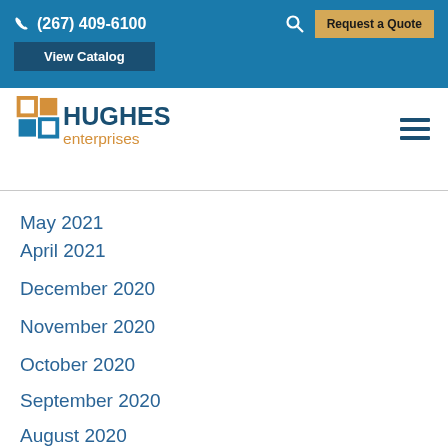(267) 409-6100  Request a Quote  View Catalog
[Figure (logo): Hughes Enterprises logo with orange and blue icon and text]
May 2021
April 2021
December 2020
November 2020
October 2020
September 2020
August 2020
May 2020